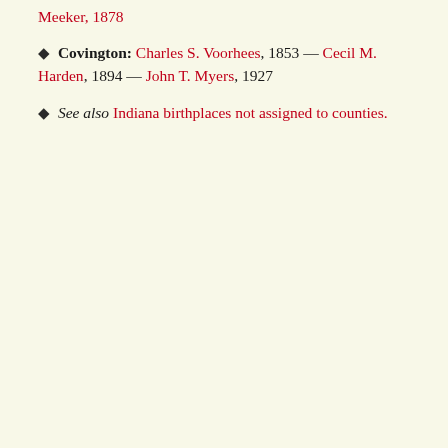Meeker, 1878
Covington: Charles S. Voorhees, 1853 — Cecil M. Harden, 1894 — John T. Myers, 1927
See also Indiana birthplaces not assigned to counties.